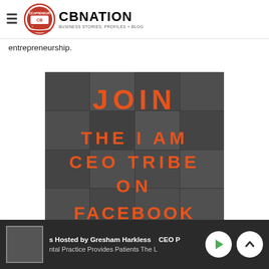CBNATION – Business Stories, Profiles + Blog
one thing and one thing alone, which is your ability to deliver value to a large number of people. With this mindset, anything she pours their heat and soul in to is about entrepreneurship.
[Figure (photo): Promotional graphic for 'JOIN THE I AM CEO TRIBE ON FACEBOOK' — collage of black and white photos of diverse people with bold orange text overlay]
s Hosted by Gresham Harkless   CEO P…  |  ntal Practice Provides Patients The L…